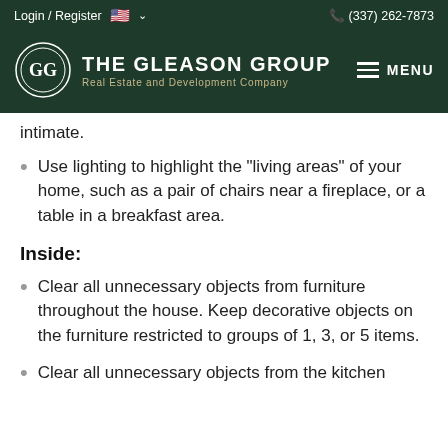Login / Register  🇺🇸 ∨    (337) 262-7873
[Figure (logo): The Gleason Group logo with circular GG emblem and text 'THE GLEASON GROUP Real Estate and Development Company' on dark green background, with MENU button on right]
intimate.
Use lighting to highlight the "living areas" of your home, such as a pair of chairs near a fireplace, or a table in a breakfast area.
Inside:
Clear all unnecessary objects from furniture throughout the house. Keep decorative objects on the furniture restricted to groups of 1, 3, or 5 items.
Clear all unnecessary objects from the kitchen